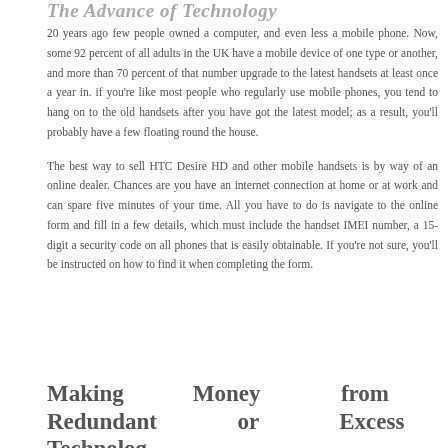The Advance of Technology
20 years ago few people owned a computer, and even less a mobile phone. Now, some 92 percent of all adults in the UK have a mobile device of one type or another, and more than 70 percent of that number upgrade to the latest handsets at least once a year in. if you're like most people who regularly use mobile phones, you tend to hang on to the old handsets after you have got the latest model; as a result, you'll probably have a few floating round the house.
The best way to sell HTC Desire HD and other mobile handsets is by way of an online dealer. Chances are you have an internet connection at home or at work and can spare five minutes of your time. All you have to do is navigate to the online form and fill in a few details, which must include the handset IMEI number, a 15-digit a security code on all phones that is easily obtainable. If you're not sure, you'll be instructed on how to find it when completing the form.
Making Money from Redundant or Excess Technology